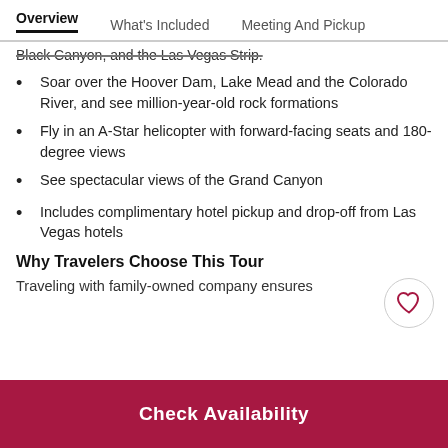Overview | What's Included | Meeting And Pickup
Black Canyon, and the Las Vegas Strip.
Soar over the Hoover Dam, Lake Mead and the Colorado River, and see million-year-old rock formations
Fly in an A-Star helicopter with forward-facing seats and 180-degree views
See spectacular views of the Grand Canyon
Includes complimentary hotel pickup and drop-off from Las Vegas hotels
Why Travelers Choose This Tour
Traveling with family-owned company ensures
Check Availability